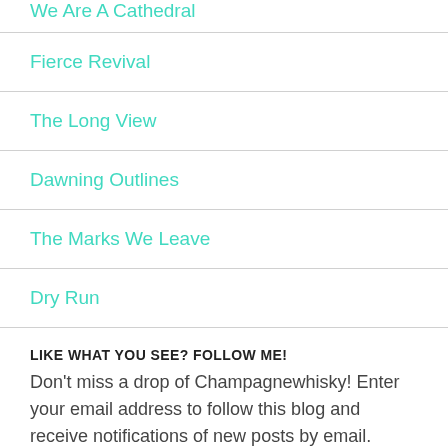We Are A Cathedral
Fierce Revival
The Long View
Dawning Outlines
The Marks We Leave
Dry Run
LIKE WHAT YOU SEE? FOLLOW ME!
Don't miss a drop of Champagnewhisky! Enter your email address to follow this blog and receive notifications of new posts by email.